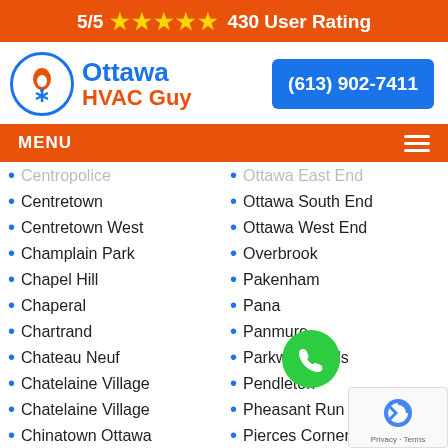5/5 ★★★★★ 430 User Rating
[Figure (logo): Ottawa HVAC Guy logo with circular flame/snowflake icon and text]
(613) 902-7411
MENU
Centropolice (partially visible)
Centretown
Centretown West
Champlain Park
Chapel Hill
Chaperal
Chartrand
Chateau Neuf
Chatelaine Village
Chatelaine Village
Chinatown Ottawa
Ottawa East End (partially visible)
Ottawa South End
Ottawa West End
Overbrook
Pakenham
Pana
Panmure
Parkwood Hills
Pendleton
Pheasant Run
Pierces Corners